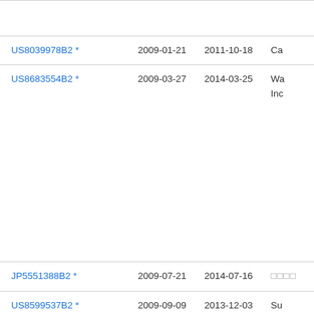| Patent | Filing Date | Publication Date | Assignee |
| --- | --- | --- | --- |
| US8039978B2 * | 2009-01-21 | 2011-10-18 | Ca... |
| US8683554B2 * | 2009-03-27 | 2014-03-25 | Wa... Inc... |
| JP5551388B2 * | 2009-07-21 | 2014-07-16 | □□□□ |
| US8599537B2 * | 2009-09-09 | 2013-12-03 | Su... Po... |
| CN102255869A * | 2010-05-17 | 2011-11-23 | □□□□ |